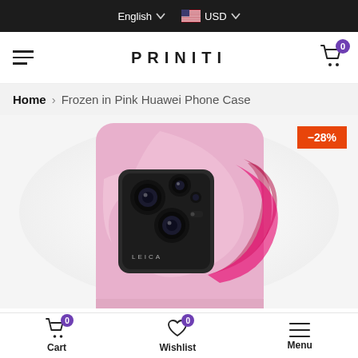English USD
PRINITI
Home > Frozen in Pink Huawei Phone Case
[Figure (photo): Back view of a Huawei phone with a pink marble/frozen effect phone case, showing triple camera module with Leica branding. Pink and magenta swirling pattern on the case. -28% discount badge shown in orange.]
Cart 0  Wishlist 0  Menu